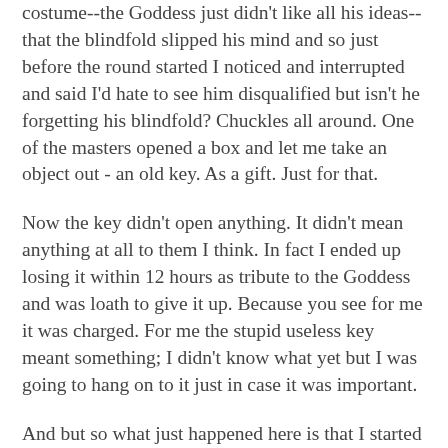costume--the Goddess just didn't like all his ideas--that the blindfold slipped his mind and so just before the round started I noticed and interrupted and said I'd hate to see him disqualified but isn't he forgetting his blindfold? Chuckles all around. One of the masters opened a box and let me take an object out - an old key. As a gift. Just for that.
Now the key didn't open anything. It didn't mean anything at all to them I think. In fact I ended up losing it within 12 hours as tribute to the Goddess and was loath to give it up. Because you see for me it was charged. For me the stupid useless key meant something; I didn't know what yet but I was going to hang on to it just in case it was important.
And but so what just happened here is that I started to create for myself what was important and what was not in this piece. I'm sure none of them remembers this. I don't even know if that episode is really all that significant but something tells me I'd best remember it.
And... continuing. So after 15 hours and losing the key and being bored and hanging out and not knowing really what to